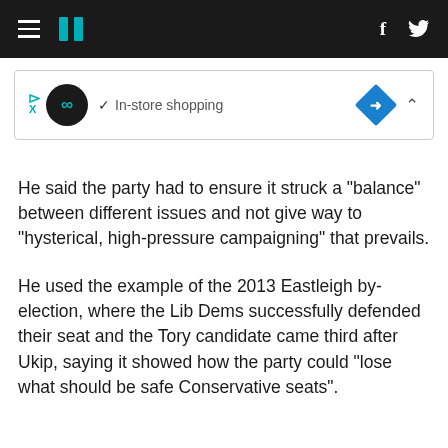HuffPost navigation bar with hamburger menu, logo, Facebook and Twitter icons
[Figure (screenshot): Advertisement banner with infinity-loop logo, In-store shopping text with checkmark, blue diamond arrow icon, and collapse caret]
He said the party had to ensure it struck a "balance" between different issues and not give way to "hysterical, high-pressure campaigning" that prevails.
He used the example of the 2013 Eastleigh by-election, where the Lib Dems successfully defended their seat and the Tory candidate came third after Ukip, saying it showed how the party could "lose what should be safe Conservative seats".